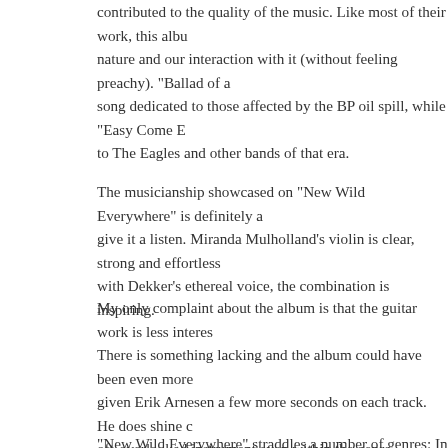contributed to the quality of the music. Like most of their work, this album deals with nature and our interaction with it (without feeling preachy). "Ballad of a..." is a song dedicated to those affected by the BP oil spill, while "Easy Come E..." is a nod to The Eagles and other bands of that era.
The musicianship showcased on "New Wild Everywhere" is definitely a... give it a listen. Miranda Mulholland's violin is clear, strong and effortless... with Dekker's ethereal voice, the combination is inspiring.
My only complaint about the album is that the guitar work is less interes... There is something lacking and the album could have been even more ... given Erik Arnesen a few more seconds on each track. He does shine d... oft-overlooked instrument even within the genre.
"New Wild Everywhere" straddles a number of genres: In one moment e... the song, and in the next we're back to the almost muted softness that s... They took a risk in recording at a studio. Being used to having to brave... just to crank out a tune, the studio must have been overwhelming for th... comes across in their music shows discipline and a loyalty to their style... They couldn't stay in the studio for the whole record though, so in true G... style, they headed to a subway station for one of their tracks. There the... Exhale." They had to wait until the wee hours of the morning for trains t... and the area was wet and cold, but somehow the track comes across w...
It is recommended I think in the end, we are used to seeing...